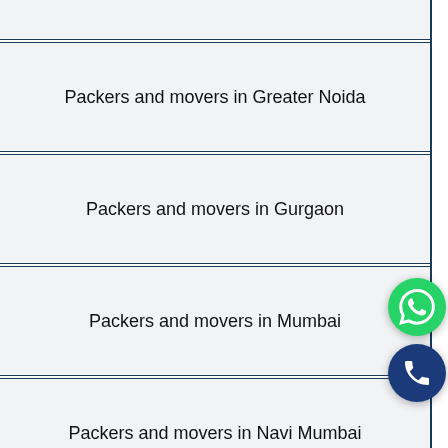Packers and movers in Greater Noida
Packers and movers in Gurgaon
Packers and movers in Mumbai
Packers and movers in Navi Mumbai
Packers and movers in Noida
Packers and movers in Chennai